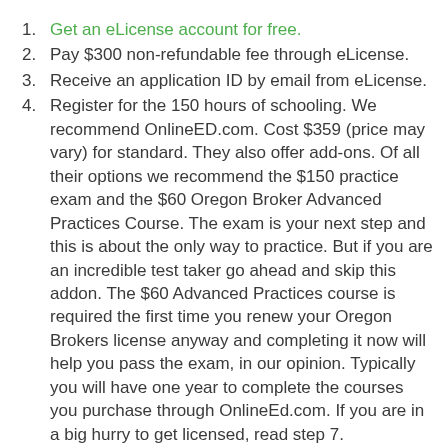1. Get an eLicense account for free.
2. Pay $300 non-refundable fee through eLicense.
3. Receive an application ID by email from eLicense.
4. Register for the 150 hours of schooling. We recommend OnlineED.com. Cost $359 (price may vary) for standard. They also offer add-ons. Of all their options we recommend the $150 practice exam and the $60 Oregon Broker Advanced Practices Course. The exam is your next step and this is about the only way to practice. But if you are an incredible test taker go ahead and skip this addon. The $60 Advanced Practices course is required the first time you renew your Oregon Brokers license anyway and completing it now will help you pass the exam, in our opinion. Typically you will have one year to complete the courses you purchase through OnlineEd.com. If you are in a big hurry to get licensed, read step 7.